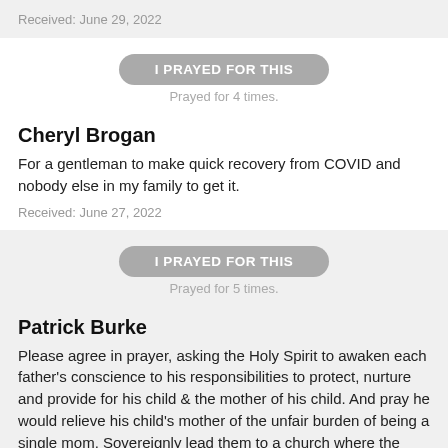Received: June 29, 2022
I PRAYED FOR THIS
Prayed for 4 times.
Cheryl Brogan
For a gentleman to make quick recovery from COVID and nobody else in my family to get it.
Received: June 27, 2022
I PRAYED FOR THIS
Prayed for 5 times.
Patrick Burke
Please agree in prayer, asking the Holy Spirit to awaken each father's conscience to his responsibilities to protect, nurture and provide for his child & the mother of his child. And pray he would relieve his child's mother of the unfair burden of being a single mom. Sovereignly lead them to a church where the Bible is revered, the worship and